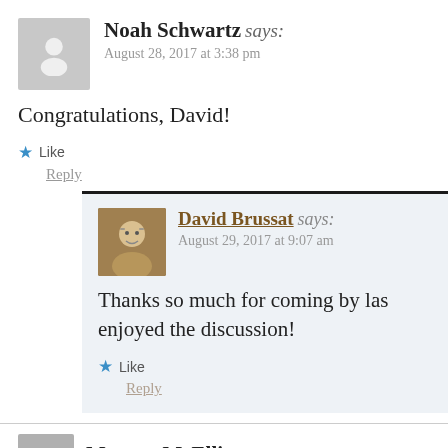Noah Schwartz says: August 28, 2017 at 3:38 pm
Congratulations, David!
Like
Reply
David Brussat says: August 29, 2017 at 9:07 am
Thanks so much for coming by las… enjoyed the discussion!
Like
Reply
Marg… McElli…